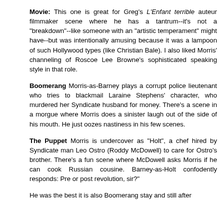Movie: This one is great for Greg's L'Enfant terrible auteur filmmaker scene where he has a tantrum--it's not a "breakdown"--like someone with an "artistic temperament" might have--but was intentionally amusing because it was a lampoon of such Hollywood types (like Christian Bale). I also liked Morris' channeling of Roscoe Lee Browne's sophisticated speaking style in that role.
Boomerang Morris-as-Barney plays a corrupt police lieutenant who tries to blackmail Laraine Stephens' character, who murdered her Syndicate husband for money. There's a scene in a morgue where Morris does a sinister laugh out of the side of his mouth. He just oozes nastiness in his few scenes.
The Puppet Morris is undercover as "Holt", a chef hired by Syndicate man Leo Ostro (Roddy McDowell) to care for Ostro's brother. There's a fun scene where McDowell asks Morris if he can cook Russian cousine. Barney-as-Holt confodently responds: Pre or post revolution, sir?"
He was the best it is also Boomerang stay and still after